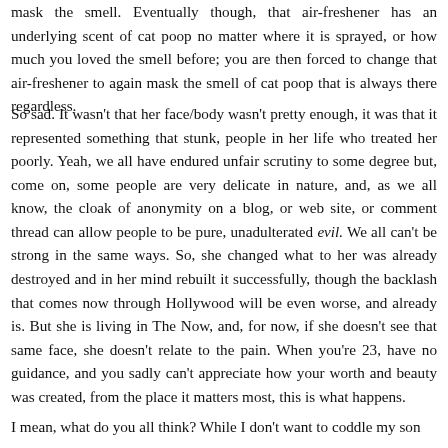mask the smell. Eventually though, that air-freshener has an underlying scent of cat poop no matter where it is sprayed, or how much you loved the smell before; you are then forced to change that air-freshener to again mask the smell of cat poop that is always there regardless.
So sad. It wasn't that her face/body wasn't pretty enough, it was that it represented something that stunk, people in her life who treated her poorly. Yeah, we all have endured unfair scrutiny to some degree but, come on, some people are very delicate in nature, and, as we all know, the cloak of anonymity on a blog, or web site, or comment thread can allow people to be pure, unadulterated evil. We all can't be strong in the same ways. So, she changed what to her was already destroyed and in her mind rebuilt it successfully, though the backlash that comes now through Hollywood will be even worse, and already is. But she is living in The Now, and, for now, if she doesn't see that same face, she doesn't relate to the pain. When you're 23, have no guidance, and you sadly can't appreciate how your worth and beauty was created, from the place it matters most, this is what happens.
I mean, what do you all think? While I don't want to coddle my son